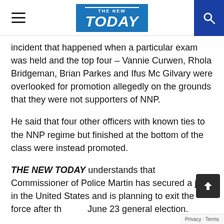THE NEW TODAY – navigation header with hamburger menu, logo, and search button
incident that happened when a particular exam was held and the top four – Vannie Curwen, Rhola Bridgeman, Brian Parkes and Ifus Mc Gilvary were overlooked for promotion allegedly on the grounds that they were not supporters of NNP.
He said that four other officers with known ties to the NNP regime but finished at the bottom of the class were instead promoted.
THE NEW TODAY understands that Commissioner of Police Martin has secured a job in the United States and is planning to exit the force after the June 23 general election.